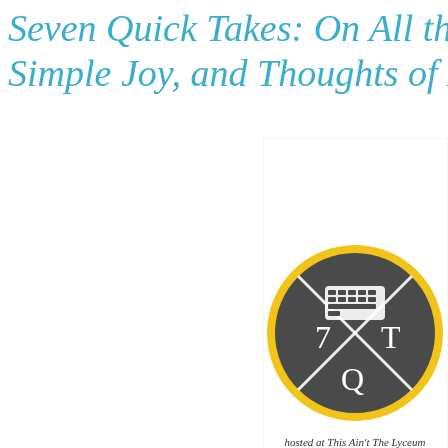Seven Quick Takes: On All the Things, Simple Joy, and Thoughts of Home
[Figure (logo): Seven Quick Takes logo: dark grey circle with yellow ring border, white X cross, keyboard icon at top, '7' at left, 'T' at right, 'Q' at bottom. Text below reads 'hosted at This Ain't The Lyceum']
Linking up with Kelly over at This Ain't The Lyceum for the fi... blog + summer = a lot of random thoughts and notes, and not...
1) To that end, choosing to dust off the keyboard and begin... maybe the most brilliant idea I've had. While the end of May b... blues, now that we are halfway through, I didn't anticipate th... everyone home would be. Rookie mistake. Note to future s... Scale back on the projects, kid.